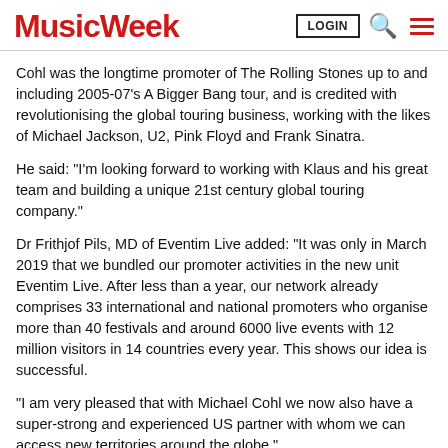Music Week | LOGIN
Cohl was the longtime promoter of The Rolling Stones up to and including 2005-07's A Bigger Bang tour, and is credited with revolutionising the global touring business, working with the likes of Michael Jackson, U2, Pink Floyd and Frank Sinatra.
He said: "I'm looking forward to working with Klaus and his great team and building a unique 21st century global touring company."
Dr Frithjof Pils, MD of Eventim Live added: "It was only in March 2019 that we bundled our promoter activities in the new unit Eventim Live. After less than a year, our network already comprises 33 international and national promoters who organise more than 40 festivals and around 6000 live events with 12 million visitors in 14 countries every year. This shows our idea is successful.
"I am very pleased that with Michael Cohl we now also have a super-strong and experienced US partner with whom we can access new territories around the globe."